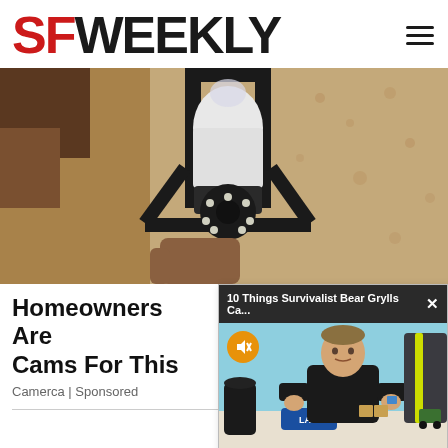SF WEEKLY
[Figure (photo): Security camera disguised as a light bulb being installed in an outdoor wall fixture. Beige/tan textured stucco wall, black metal fixture bracket, white bulb-shaped camera with LED ring visible at bottom.]
Homeowners Are Cams For This
Camerca | Sponsored
[Figure (screenshot): Popup advertisement overlay showing '10 Things Survivalist Bear Grylls Ca...' with an X close button. Below is a video thumbnail with a cyan/light-blue background showing a man in a black t-shirt (Bear Grylls) sitting at a table with various items including a black jar, a blue LA Dodgers cap, and other survival gear. A yellow mute button icon is visible. A jacket is visible on the right side.]